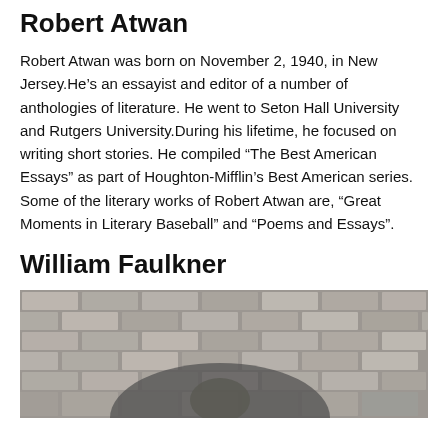Robert Atwan
Robert Atwan was born on November 2, 1940, in New Jersey.He’s an essayist and editor of a number of anthologies of literature. He went to Seton Hall University and Rutgers University.During his lifetime, he focused on writing short stories. He compiled “The Best American Essays” as part of Houghton-Mifflin’s Best American series. Some of the literary works of Robert Atwan are, “Great Moments in Literary Baseball” and “Poems and Essays”.
William Faulkner
[Figure (photo): Black and white photograph of William Faulkner in front of a brick wall background]